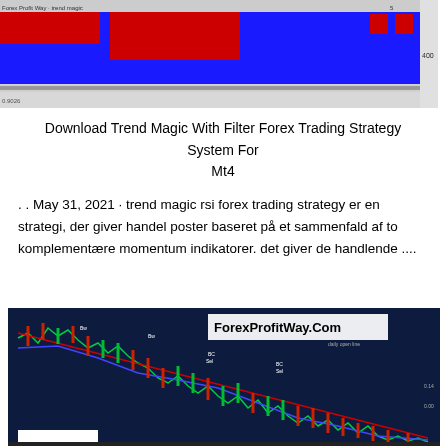[Figure (screenshot): Forex trading chart screenshot showing blue and red indicator bars at the top of the chart display]
Download Trend Magic With Filter Forex Trading Strategy System For Mt4
. . May 31, 2021 · trend magic rsi forex trading strategy er en strategi, der giver handel poster baseret på et sammenfald af to komplementære momentum indikatorer. det giver de handlende ....
[Figure (screenshot): Forex trading chart screenshot with ForexProfitWay.Com watermark, showing candlestick price action on a dark navy background with red and green candles, moving average lines, and wave pattern annotations]